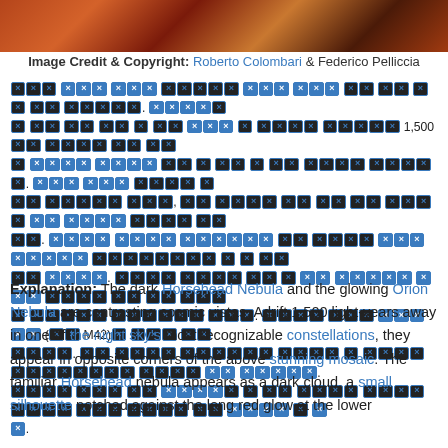[Figure (photo): Partial view of a nebula photograph showing red and orange cosmic gas clouds — top strip of the Horsehead/Orion Nebula mosaic image.]
Image Credit & Copyright: Roberto Colombari & Federico Pelliccia
[Redacted text block with mixed dark and blue highlighted redacted words — appears to be the astronomical description paragraph with 1,500 and M42 visible numbers/labels]
Explanation: The dark Horsehead Nebula and the glowing Orion Nebula are contrasting cosmic vistas. Adrift 1,500 light-years away in one of the night sky's most recognizable constellations, they appear in opposite corners of the above stunning mosaic. The familiar Horsehead nebula appears as a dark cloud, a small silhouette notched against the long red glow at the lower